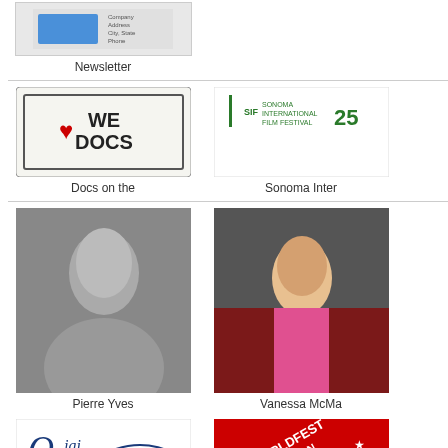[Figure (screenshot): Newsletter thumbnail image]
Newsletter
[Figure (logo): We Love Docs logo]
Docs on the
[Figure (logo): Sonoma International Film Festival logo with 25th anniversary mark]
Sonoma Inter
[Figure (photo): Black and white photo of Pierre Yves]
Pierre Yves
[Figure (photo): Photo of Vanessa McMa at a red carpet event]
Vanessa McMa
[Figure (logo): Ojai Film Festival logo]
The Ojai Fil
[Figure (logo): WorldFest Houston logo with star and stripes]
WorldFest Ho
[Figure (logo): Reykjavik International Film Festival RIFF logo]
Reykjavik In
[Figure (logo): Evolution Mallorca International Film Festival logo]
Short Film Festival of Los Angeles's blog
Short Film Festival of Los Angeles's vide
[Figure (infographic): Social media icons: star, email, digg, stumbleupon, facebook, google+, google+, twitter, instagram]